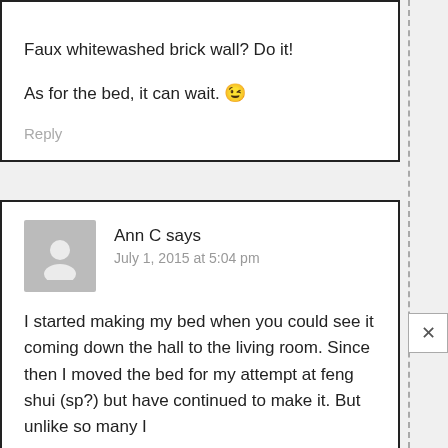Faux whitewashed brick wall? Do it!

As for the bed, it can wait. 😉
Reply
Ann C says
July 1, 2015 at 5:04 pm
I started making my bed when you could see it coming down the hall to the living room. Since then I moved the bed for my attempt at feng shui (sp?) but have continued to make it. But unlike so many I make it as soon as I crawl out of it. I don't want to have to come back in unless I